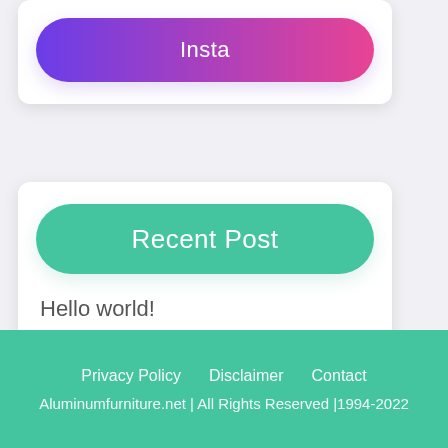[Figure (screenshot): Insta button with purple to pink/red gradient, rounded pill shape]
Recent Post
Hello world!
Privacy Policy   Disclaimer   Contact
Aluminumfurniture.net | All Rights Reserved |1994-2022